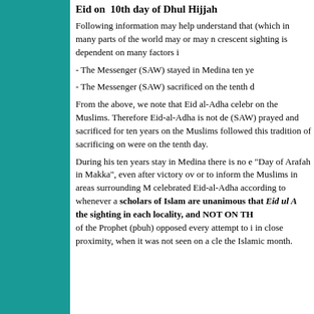Eid on  10th day of Dhul Hijjah
Following information may help understand that (which in many parts of the world may or may n crescent sighting is dependent on many factors i
- The Messenger (SAW) stayed in Medina ten ye
- The Messenger (SAW) sacrificed on the tenth d
From the above, we note that Eid al-Adha celebr on the Muslims. Therefore Eid-al-Adha is not de (SAW) prayed and sacrificed for ten years on the Muslims followed this tradition of sacrificing on were on the tenth day.
During his ten years stay in Medina there is no e "Day of Arafah in Makka", even after victory ov or to inform the Muslims in areas surrounding M celebrated Eid-al-Adha according to whenever a scholars of Islam are unanimous that Eid ul A the sighting in each locality, and NOT ON TH of the Prophet (pbuh) opposed every attempt to i in close proximity, when it was not seen on a cle the Islamic month.